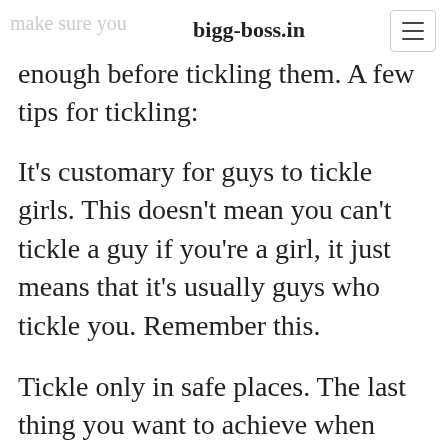bigg-boss.in
enough before tickling them. A few tips for tickling:
It's customary for guys to tickle girls. This doesn't mean you can't tickle a guy if you're a girl, it just means that it's usually guys who tickle you. Remember this.
Tickle only in safe places. The last thing you want to achieve when flirting is to make the other person feel uncomfortable. To make sure you don't violate his/her boundaries, try focusing on your hands